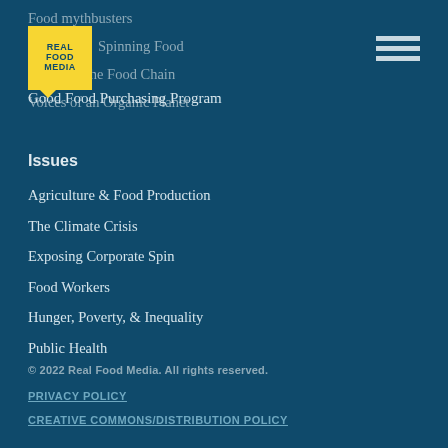[Figure (logo): Real Food Media logo — yellow speech bubble with REAL FOOD MEDIA text in dark blue]
Food mythbusters
Spinning Food
Voices of the Food Chain
Voices of an Organic Planet
Good Food Purchasing Program
Issues
Agriculture & Food Production
The Climate Crisis
Exposing Corporate Spin
Food Workers
Hunger, Poverty, & Inequality
Public Health
© 2022 Real Food Media. All rights reserved.
PRIVACY POLICY
CREATIVE COMMONS/DISTRIBUTION POLICY